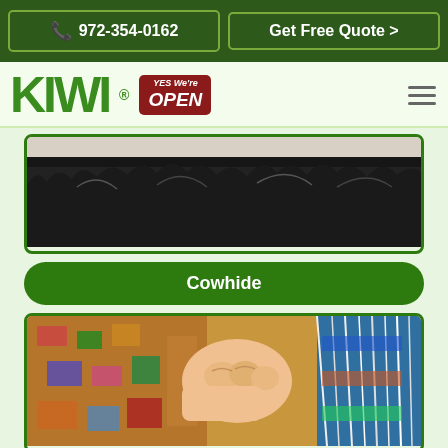972-354-0162 | Get Free Quote >
[Figure (logo): KIWI logo with YES We're OPEN badge and hamburger menu]
[Figure (photo): Close-up of dark cowhide rug texture, black and white fur]
Cowhide
[Figure (photo): Hand pulling threads on a colorful woven rug for repair]
Rug Repairs